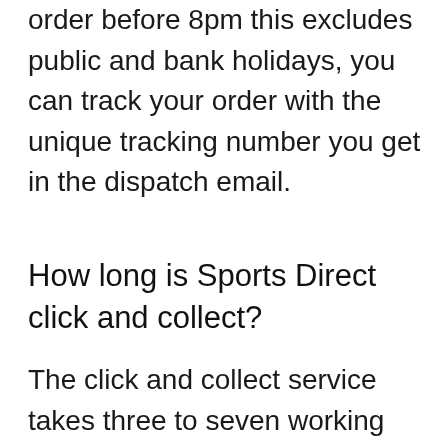order before 8pm this excludes public and bank holidays, you can track your order with the unique tracking number you get in the dispatch email.
How long is Sports Direct click and collect?
The click and collect service takes three to seven working days for delivery completion